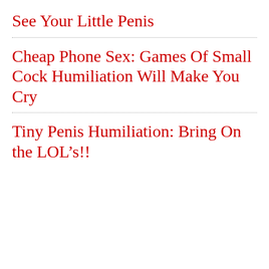See Your Little Penis
Cheap Phone Sex: Games Of Small Cock Humiliation Will Make You Cry
Tiny Penis Humiliation: Bring On the LOL’s!!